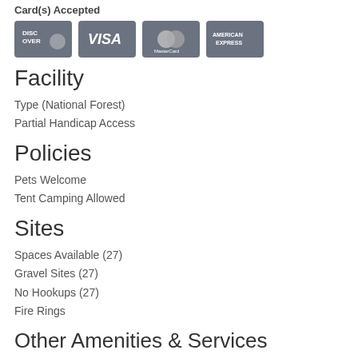Card(s) Accepted
[Figure (logo): Four credit card logos: Discover, Visa, MasterCard, American Express]
Facility
Type (National Forest)
Partial Handicap Access
Policies
Pets Welcome
Tent Camping Allowed
Sites
Spaces Available (27)
Gravel Sites (27)
No Hookups (27)
Fire Rings
Other Amenities & Services